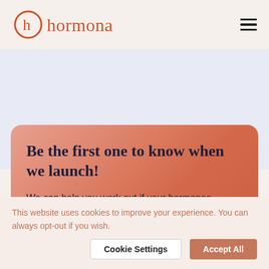[Figure (logo): Hormona brand logo with circular 'h' icon and wordmark in coral/orange color]
Be the first one to know when we launch!
We can help you work out if your hormones
This website uses cookies to improve your experience. You can always opt-out if you wish.